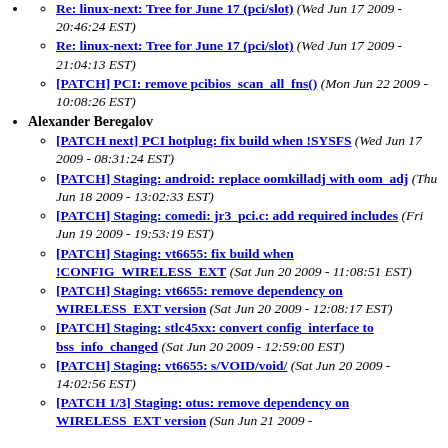Re: linux-next: Tree for June 17 (pci/slot) (Wed Jun 17 2009 - 20:46:24 EST)
Re: linux-next: Tree for June 17 (pci/slot) (Wed Jun 17 2009 - 21:04:13 EST)
[PATCH] PCI: remove pcibios_scan_all_fns() (Mon Jun 22 2009 - 10:08:26 EST)
Alexander Beregalov
[PATCH next] PCI hotplug: fix build when !SYSFS (Wed Jun 17 2009 - 08:31:24 EST)
[PATCH] Staging: android: replace oomkilladj with oom_adj (Thu Jun 18 2009 - 13:02:33 EST)
[PATCH] Staging: comedi: jr3_pci.c: add required includes (Fri Jun 19 2009 - 19:53:19 EST)
[PATCH] Staging: vt6655: fix build when !CONFIG_WIRELESS_EXT (Sat Jun 20 2009 - 11:08:51 EST)
[PATCH] Staging: vt6655: remove dependency on WIRELESS_EXT version (Sat Jun 20 2009 - 12:08:17 EST)
[PATCH] Staging: stlc45xx: convert config_interface to bss_info_changed (Sat Jun 20 2009 - 12:59:00 EST)
[PATCH] Staging: vt6655: s/VOID/void/ (Sat Jun 20 2009 - 14:02:56 EST)
[PATCH 1/3] Staging: otus: remove dependency on WIRELESS_EXT version (Sun Jun 21 2009 ...)